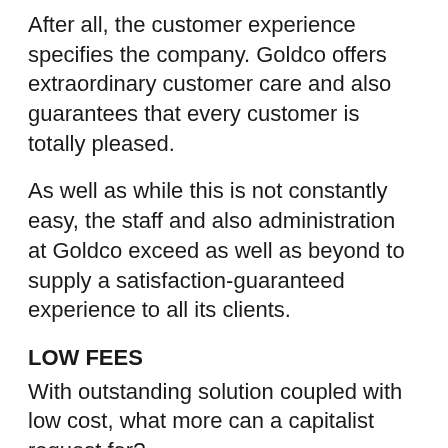After all, the customer experience specifies the company. Goldco offers extraordinary customer care and also guarantees that every customer is totally pleased.
As well as while this is not constantly easy, the staff and also administration at Goldco exceed as well as beyond to supply a satisfaction-guaranteed experience to all its clients.
LOW FEES
With outstanding solution coupled with low cost, what more can a capitalist request for?
The business's low-cost model is just one of one of the most affordable ones in the sector.